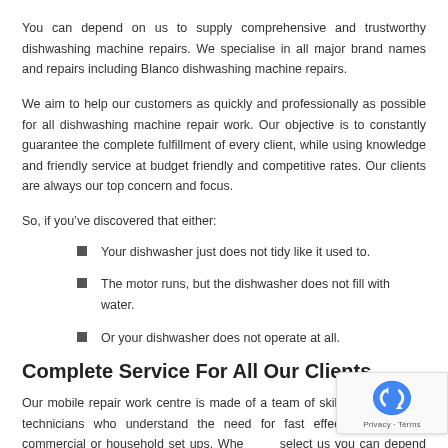You can depend on us to supply comprehensive and trustworthy dishwashing machine repairs. We specialise in all major brand names and repairs including Blanco dishwashing machine repairs.
We aim to help our customers as quickly and professionally as possible for all dishwashing machine repair work. Our objective is to constantly guarantee the complete fulfillment of every client, while using knowledge and friendly service at budget friendly and competitive rates. Our clients are always our top concern and focus.
So, if you’ve discovered that either:
Your dishwasher just does not tidy like it used to.
The motor runs, but the dishwasher does not fill with water.
Or your dishwasher does not operate at all.
Complete Service For All Our Clients
Our mobile repair work centre is made of a team of skilled professional technicians who understand the need for fast effective repairs in commercial or household set ups. When you select us you can depend on fixed rates, quality work, fast action